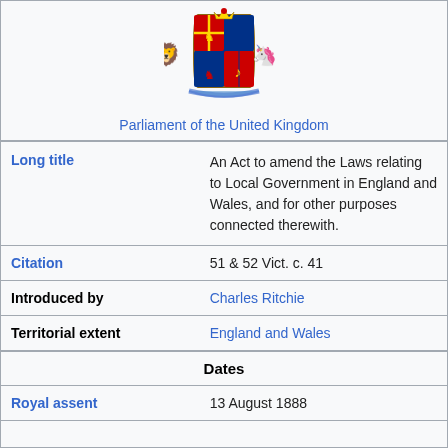[Figure (illustration): Royal Coat of Arms of the United Kingdom]
Parliament of the United Kingdom
| Long title | An Act to amend the Laws relating to Local Government in England and Wales, and for other purposes connected therewith. |
| Citation | 51 & 52 Vict. c. 41 |
| Introduced by | Charles Ritchie |
| Territorial extent | England and Wales |
| Dates |  |
| Royal assent | 13 August 1888 |